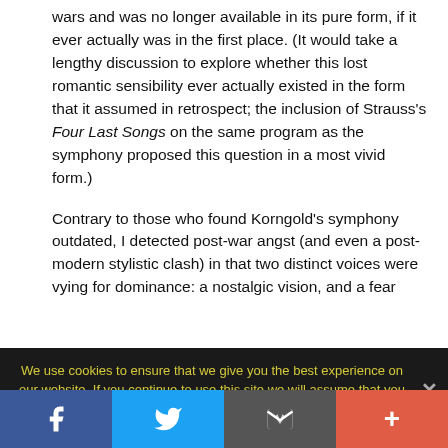wars and was no longer available in its pure form, if it ever actually was in the first place. (It would take a lengthy discussion to explore whether this lost romantic sensibility ever actually existed in the form that it assumed in retrospect; the inclusion of Strauss's Four Last Songs on the same program as the symphony proposed this question in a most vivid form.)
Contrary to those who found Korngold's symphony outdated, I detected post-war angst (and even a post-modern stylistic clash) in that two distinct voices were vying for dominance: a nostalgic vision, and a fear
We use cookies to ensure that we give you the best experience on our website. If you continue to use this site we will assume that you are happy with it.